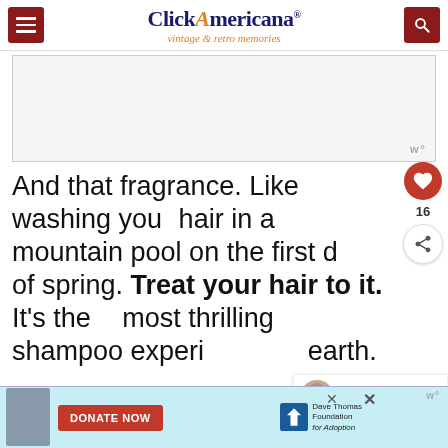Click Americana — vintage & retro memories
[Figure (other): Advertisement placeholder box with Wm° watermark badge in bottom right corner]
And that fragrance. Like washing your hair in a mountain pool on the first day of spring. Treat your hair to it. It's the most thrilling shampoo experience on earth.
[Figure (infographic): Bottom advertisement banner: boy photo, DONATE NOW red button, Dave Thomas Foundation for Adoption logo. Close buttons visible.]